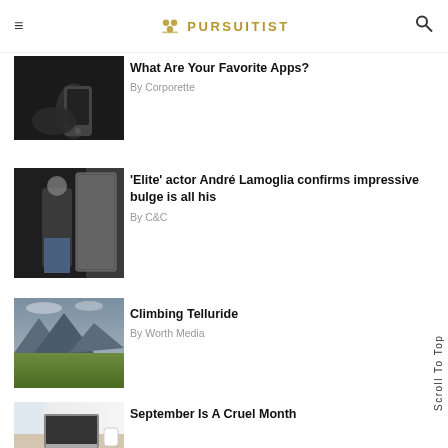PURSUITIST
What Are Your Favorite Apps?
By Corporette
[Figure (photo): Hand holding a smartphone against dark background]
'Elite' actor André Lamoglia confirms impressive bulge is all his
By C&C
[Figure (photo): Shirtless man taking mirror selfie in bathroom]
Climbing Telluride
By Worth Media
[Figure (photo): Mountain landscape with green fields and dramatic clouds]
September Is A Cruel Month
[Figure (photo): Laptop on desk near window with soft light]
Scroll To Top